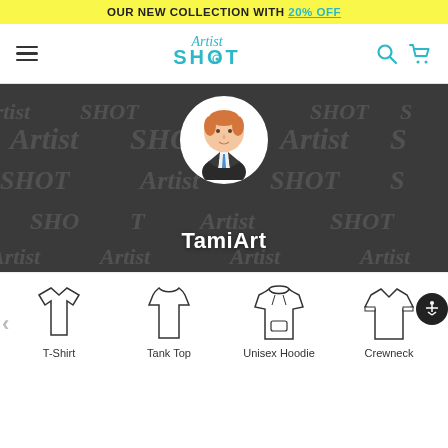OUR NEW COLLECTION WITH 20% OFF
[Figure (logo): ArtistShot logo with hamburger menu, search and cart icons]
[Figure (photo): TamiArt artist profile banner with dark background, watermark pattern, circular avatar of illustrated male figure in suit, and artist name TamiArt]
TamiArt
T-Shirt
Tank Top
Unisex Hoodie
Crewneck Sweatshirt